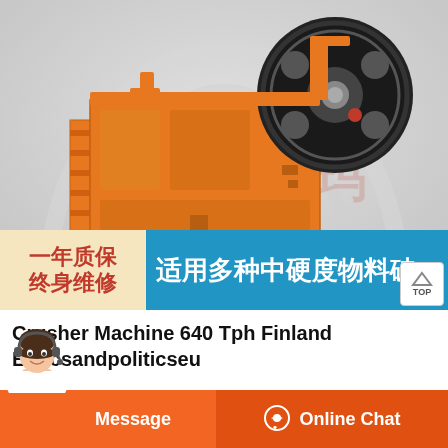[Figure (photo): Orange jaw crusher machine product photo on light grey/white background with Chinese watermark text (英瑞玛). Below the machine is a promotional banner: left side yellow background with red Chinese text '一年质保 终身维修', right side blue background with white Chinese text '适用多种中硬度物料破'. A 'TOP' button is at the bottom right.]
Crusher Machine 640 Tph Finland Ethicsandpoliticseu
640 tph mining crusher armenia . hapra crushers catalog 640 tph . hapra crushers catalog 640 tph. FOB Reference PriceGet Latest Price hapra crushers catalog 640 tph fintec spare parts alog pdf 28557, catalogo jaw c...
[Figure (illustration): Customer service representative (woman with headset) avatar photo at bottom left corner]
Message
Online Chat